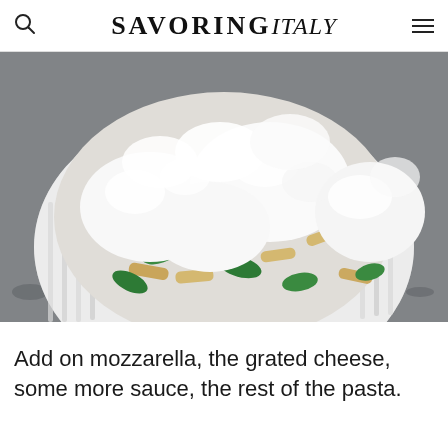SAVORING italy
[Figure (photo): A white fluted ceramic baking dish filled with penne pasta, spinach, and generous dollops of white ricotta or mozzarella cheese, placed on a grey granite countertop.]
Add on mozzarella, the grated cheese, some more sauce, the rest of the pasta.